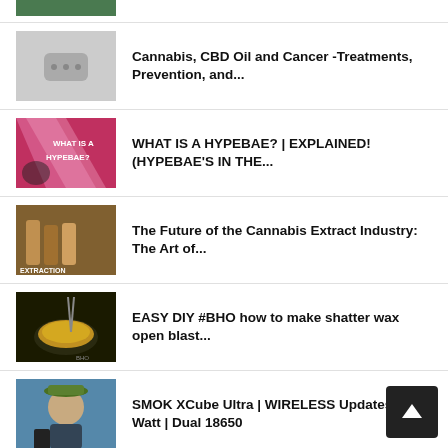[Figure (screenshot): Partial thumbnail of a video at the top, partially cropped]
Cannabis, CBD Oil and Cancer - Treatments, Prevention, and...
WHAT IS A HYPEBAE? | EXPLAINED! (HYPEBAE'S IN THE...
The Future of the Cannabis Extract Industry: The Art of...
EASY DIY #BHO how to make shatter wax open blast...
SMOK XCube Ultra | WIRELESS Updates | 220 Watt | Dual 18650